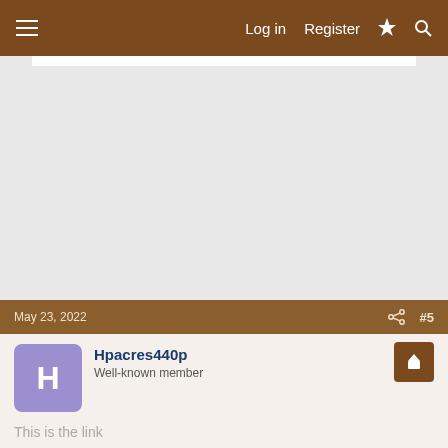Log in  Register
May 23, 2022  #5
Hpacres440p
Well-known member
This is the link